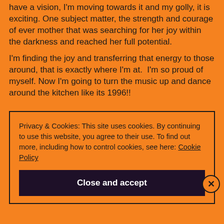have a vision, I'm moving towards it and my golly, it is exciting. One subject matter, the strength and courage of ever mother that was searching for her joy within the darkness and reached her full potential.
I'm finding the joy and transferring that energy to those around, that is exactly where I'm at.  I'm so proud of myself. Now I'm going to turn the music up and dance around the kitchen like its 1996!!
Privacy & Cookies: This site uses cookies. By continuing to use this website, you agree to their use. To find out more, including how to control cookies, see here: Cookie Policy
Close and accept